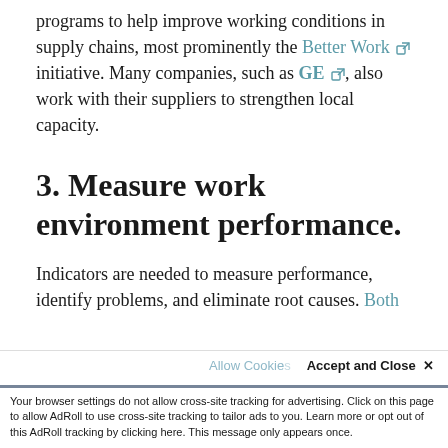programs to help improve working conditions in supply chains, most prominently the Better Work initiative. Many companies, such as GE, also work with their suppliers to strengthen local capacity.
3. Measure work environment performance.
Indicators are needed to measure performance, identify problems, and eliminate root causes. Both the physical, such as lost-time injuries, and...
This website uses cookies for analytics, advertising and to improve our site. We'll assume you're ok with this, but you
Accept and Close ×
Your browser settings do not allow cross-site tracking for advertising. Click on this page to allow AdRoll to use cross-site tracking to tailor ads to you. Learn more or opt out of this AdRoll tracking by clicking here. This message only appears once.